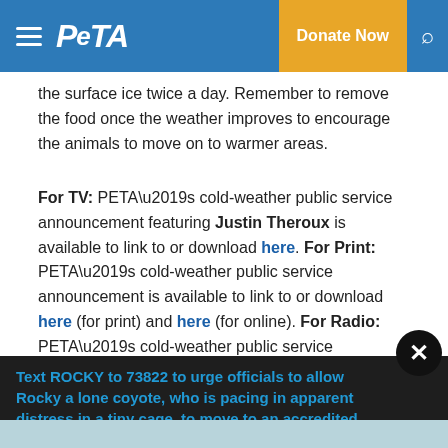PETA | Donate Now
the surface ice twice a day. Remember to remove the food once the weather improves to encourage the animals to move on to warmer areas.
For TV: PETA’s cold-weather public service announcement featuring Justin Theroux is available to link to or download here. For Print: PETA’s cold-weather public service announcement is available to link to or download here (for print) and here (for online). For Radio: PETA’s cold-weather public service announcement is available to link to or download here (for radio) and here (for online).
Text ROCKY to 73822 to urge officials to allow Rocky a lone coyote, who is pacing in apparent distress in a tiny cage, to move to an accredited sanctuary.